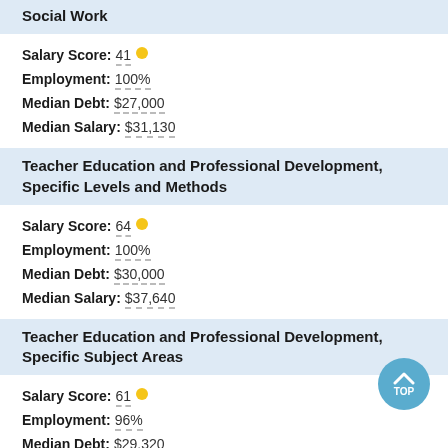Social Work
Salary Score: 41
Employment: 100%
Median Debt: $27,000
Median Salary: $31,130
Teacher Education and Professional Development, Specific Levels and Methods
Salary Score: 64
Employment: 100%
Median Debt: $30,000
Median Salary: $37,640
Teacher Education and Professional Development, Specific Subject Areas
Salary Score: 61
Employment: 96%
Median Debt: $29,320